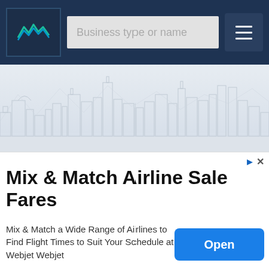[Figure (screenshot): Website header bar with logo, search field placeholder 'Business type or name', and hamburger menu button on dark navy background]
We use push notifications on your listing to obtain customers directly across Google, Bing and over 500 Industry Partner sites.
[Figure (screenshot): Phone number input field with placeholder 'Enter phone number' and cyan Submit button]
[Figure (illustration): Light gray city skyline illustration]
[Figure (screenshot): Chevron/dropdown tab at bottom of main content area]
[Figure (screenshot): Advertisement banner: Mix & Match Airline Sale Fares with Open button]
Mix & Match Airline Sale Fares
Mix & Match a Wide Range of Airlines to Find Flight Times to Suit Your Schedule at Webjet Webjet